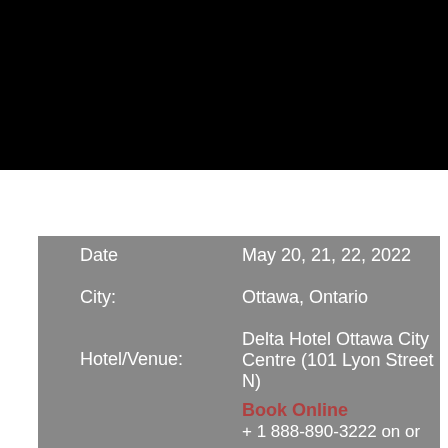2022 NATIONAL TEAM TRYOUTS
| Field | Value |
| --- | --- |
| Date | May 20, 21, 22, 2022 |
| City: | Ottawa, Ontario |
| Hotel/Venue: | Delta Hotel Ottawa City Centre (101 Lyon Street N) |
|  | Book Online
+ 1 888-890-3222 on or before Monday, April 18, 2022 (cut-off date). Please specify you are |
| Hotel |  |